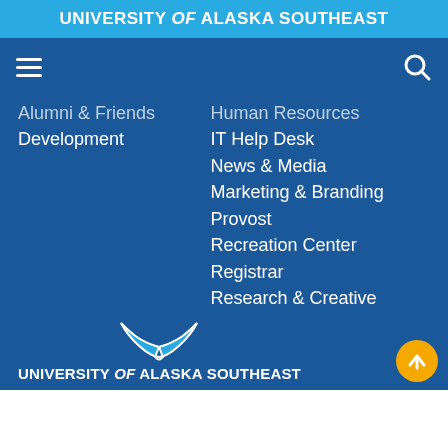UNIVERSITY of ALASKA SOUTHEAST
[Figure (screenshot): Navigation bar with hamburger menu icon on left and search icon on right]
Alumni & Friends
Development
Human Resources
IT Help Desk
News & Media
Marketing & Branding
Provost
Recreation Center
Registrar
Research & Creative Activities
UAS Gear Shop
[Figure (logo): University of Alaska Southeast whale tail logo with text UNIVERSITY of ALASKA SOUTHEAST]